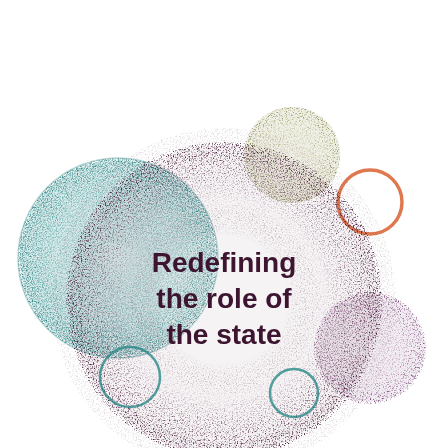[Figure (illustration): Decorative illustration of multiple circles in a stipple/dot style. A large central dark purple circle with a stippled/dotted texture border contains the text 'Redefining the role of the state'. Surrounding it are: a large teal/dark-cyan filled stippled circle on the left, a small olive/dark-yellow stippled circle top-center-right, an orange ring outline top-right, a small teal ring outline bottom-left, a small teal ring outline bottom-center, and a medium purple stippled circle bottom-right.]
Redefining the role of the state